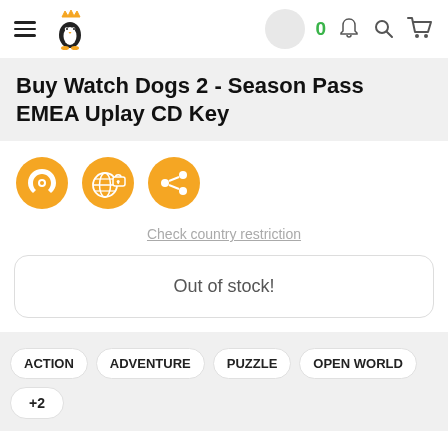Buy Watch Dogs 2 - Season Pass EMEA Uplay CD Key
Buy Watch Dogs 2 - Season Pass EMEA Uplay CD Key
[Figure (infographic): Three orange circular icons: Uplay swirl logo, globe with lock, and share/network icon]
Check country restriction
Out of stock!
ACTION
ADVENTURE
PUZZLE
OPEN WORLD
+2